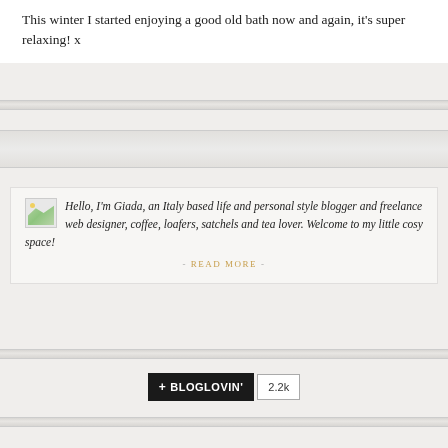This winter I started enjoying a good old bath now and again, it's super relaxing! x
[Figure (other): Broken image placeholder (small icon with landscape thumbnail)]
Hello, I'm Giada, an Italy based life and personal style blogger and freelance web designer, coffee, loafers, satchels and tea lover. Welcome to my little cosy space!
- READ MORE -
[Figure (other): Bloglovin follow button with count 2.2k]